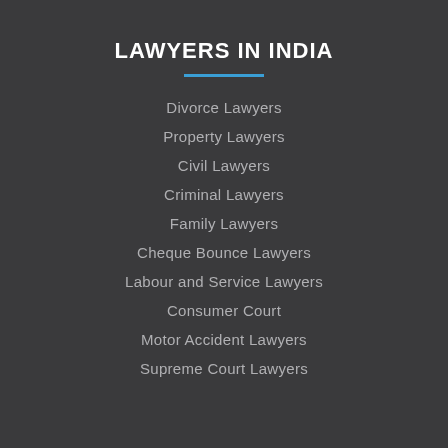LAWYERS IN INDIA
Divorce Lawyers
Property Lawyers
Civil Lawyers
Criminal Lawyers
Family Lawyers
Cheque Bounce Lawyers
Labour and Service Lawyers
Consumer Court
Motor Accident Lawyers
Supreme Court Lawyers